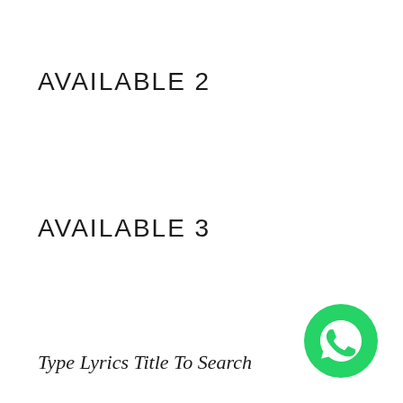AVAILABLE 2
AVAILABLE 3
Type Lyrics Title To Search
[Figure (logo): WhatsApp logo button — green circle with white speech bubble phone icon]